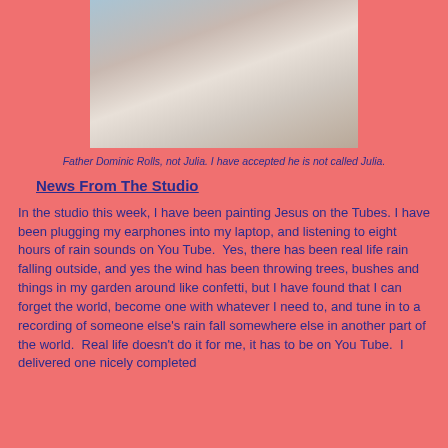[Figure (photo): A person lying in a hospital bed wearing a blue hospital gown, with white sheets and a blood pressure cuff on their arm.]
Father Dominic Rolls, not Julia.  I have accepted he is not called Julia.
News From The Studio
In the studio this week, I have been painting Jesus on the Tubes.  I have been plugging my earphones into my laptop, and listening to eight hours of rain sounds on You Tube.  Yes, there has been real life rain falling outside, and yes the wind has been throwing trees, bushes and things in my garden around like confetti, but I have found that I can forget the world, become one with whatever I need to, and tune in to a recording of someone else's rain fall somewhere else in another part of the world.  Real life doesn't do it for me, it has to be on You Tube.  I delivered one nicely completed